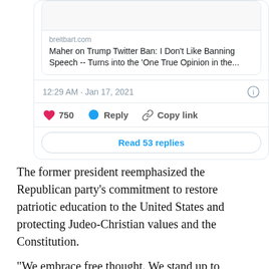[Figure (screenshot): Screenshot of a tweet card showing a Breitbart.com link preview with title 'Maher on Trump Twitter Ban: I Don't Like Banning Speech -- Turns into the One True Opinion in the...', timestamp '12:29 AM · Jan 17, 2021', 750 likes, Reply and Copy link buttons, and a 'Read 53 replies' button.]
The former president reemphasized the Republican party's commitment to restore patriotic education to the United States and protecting Judeo-Christian values and the Constitution.
"We embrace free thought. We stand up to political